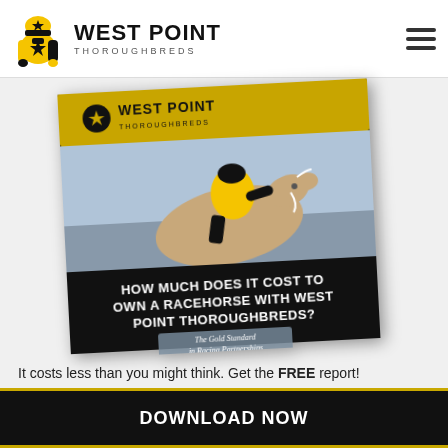WEST POINT THOROUGHBREDS
[Figure (illustration): West Point Thoroughbreds promotional brochure showing a jockey riding a racehorse, with text 'HOW MUCH DOES IT COST TO OWN A RACEHORSE WITH WEST POINT THOROUGHBREDS?' and subtitle 'The Gold Standard in Racing Partnerships']
It costs less than you might think. Get the FREE report!
DOWNLOAD NOW